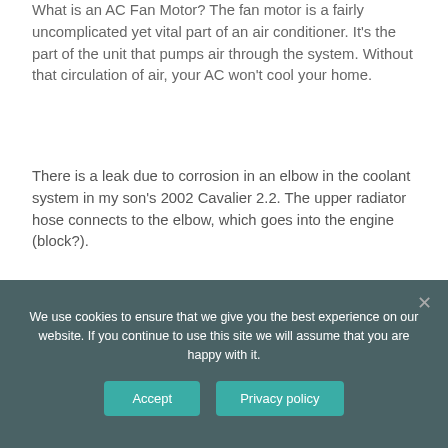What is an AC Fan Motor? The fan motor is a fairly uncomplicated yet vital part of an air conditioner. It's the part of the unit that pumps air through the system. Without that circulation of air, your AC won't cool your home.
There is a leak due to corrosion in an elbow in the coolant system in my son's 2002 Cavalier 2.2. The upper radiator hose connects to the elbow, which goes into the engine (block?).
My 2000 cavalier is loosing some serious coolant. There is no sign of external leakage
We use cookies to ensure that we give you the best experience on our website. If you continue to use this site we will assume that you are happy with it.